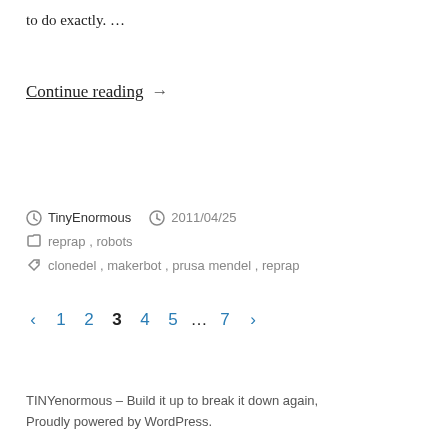to do exactly. …
Continue reading →
TinyEnormous  2011/04/25  reprap , robots  clonedel , makerbot , prusa mendel , reprap
‹ 1 2 3 4 5 … 7 ›
TINYenormous – Build it up to break it down again, Proudly powered by WordPress.